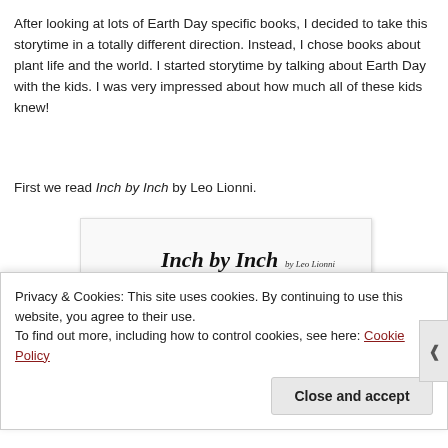After looking at lots of Earth Day specific books, I decided to take this storytime in a totally different direction. Instead, I chose books about plant life and the world. I started storytime by talking about Earth Day with the kids. I was very impressed about how much all of these kids knew!
First we read Inch by Inch by Leo Lionni.
[Figure (photo): Book cover of 'Inch by Inch' by Leo Lionni showing the title in italic serif font, author name, publisher info, and green grass blades at the bottom with a small snail]
Privacy & Cookies: This site uses cookies. By continuing to use this website, you agree to their use.
To find out more, including how to control cookies, see here: Cookie Policy